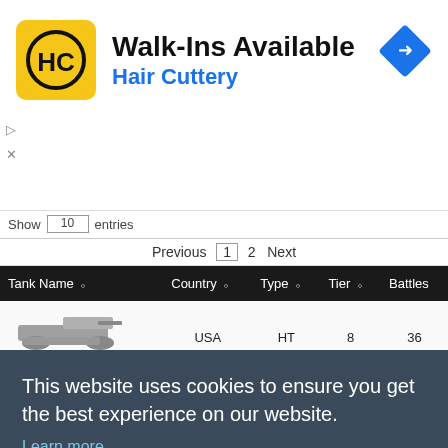[Figure (screenshot): Hair Cuttery advertisement banner with yellow HC logo, 'Walk-Ins Available' title, 'Hair Cuttery' subtitle in blue, and a blue diamond navigation icon top right. Small play and close controls on the left.]
| Tank Name | Country | Type | Tier | Battles |
| --- | --- | --- | --- | --- |
| [tank image] Renegade ★ | USA | HT | 8 | 36 |
| [tank image] [name] ★ |  |  |  | 27 |
| [tank image] STRV ★ | Sweden | HT | 9 | 27 |
| [tank image] LT-432 ★ | U.S.S.R. | LT | 8 | 15 |
This website uses cookies to ensure you get the best experience on our website.
Learn more
Got it!